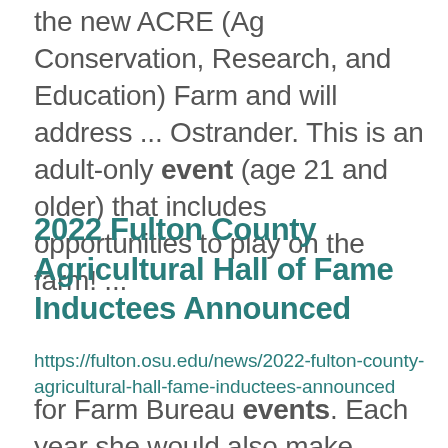the new ACRE (Ag Conservation, Research, and Education) Farm and will address ... Ostrander. This is an adult-only event (age 21 and older) that includes opportunities to play on the farm! ...
2022 Fulton County Agricultural Hall of Fame Inductees Announced
https://fulton.osu.edu/news/2022-fulton-county-agricultural-hall-fame-inductees-announced
for Farm Bureau events. Each year she would also make multiple entries into the Agriculture Building ... pictures of this